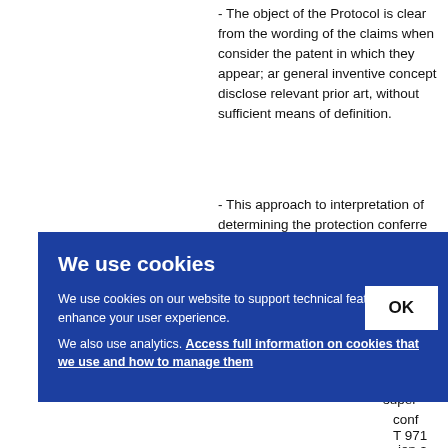- The object of the Protocol is clear from the wording of the claims when considered within the patent in which they appear; and not using the general inventive concept disclosed therein as a relevant prior art, without sufficient definition by means of definition.
- This approach to interpretation of claims in determining the protection conferred ... 2/88, OJ EPO 1990, 93, point 4, en...
...ne cla... cope ... super... conf... T 971... ion a... 3(3) R...
[Figure (screenshot): Cookie consent overlay dialog on a blue background. Title: 'We use cookies'. Body text: 'We use cookies on our website to support technical features that enhance your user experience. We also use analytics. Access full information on cookies that we use and how to manage them'. An OK button appears on the right side of the overlay.]